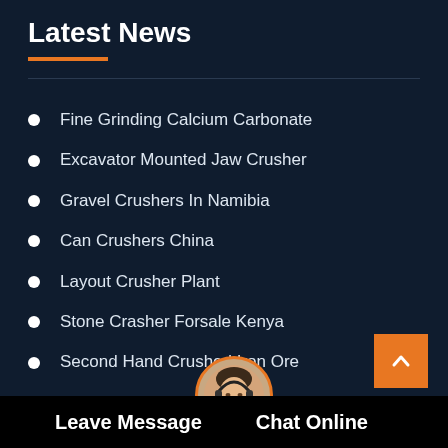Latest News
Fine Grinding Calcium Carbonate
Excavator Mounted Jaw Crusher
Gravel Crushers In Namibia
Can Crushers China
Layout Crusher Plant
Stone Crasher Forsale Kenya
Second Hand Crushed Iron Ore
Magnetic Bead Separation Of...
C... ...arator C...
Leave Message   Chat Online